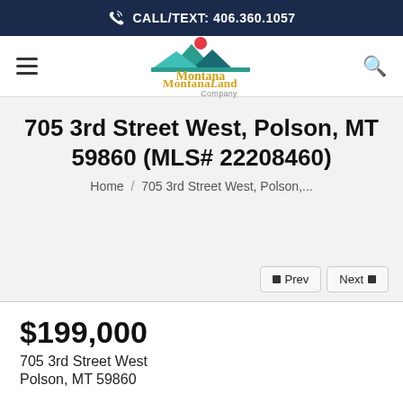CALL/TEXT: 406.360.1057
[Figure (logo): Montana Land Company logo with teal mountain silhouette and orange sun, yellow text reading MontanaLand Company]
705 3rd Street West, Polson, MT 59860 (MLS# 22208460)
Home / 705 3rd Street West, Polson,...
Prev  Next
$199,000
705 3rd Street West
Polson, MT 59860